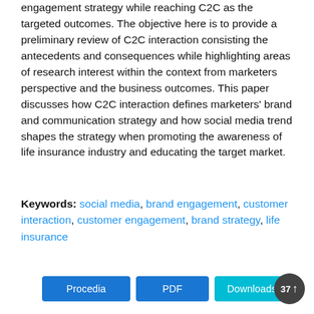engagement strategy while reaching C2C as the targeted outcomes. The objective here is to provide a preliminary review of C2C interaction consisting the antecedents and consequences while highlighting areas of research interest within the context from marketers perspective and the business outcomes. This paper discusses how C2C interaction defines marketers' brand and communication strategy and how social media trend shapes the strategy when promoting the awareness of life insurance industry and educating the target market.
Keywords: social media, brand engagement, customer interaction, customer engagement, brand strategy, life insurance
Procedia  PDF  Downloads 37